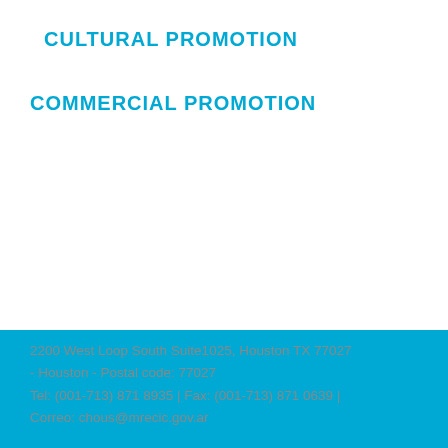CULTURAL PROMOTION
COMMERCIAL PROMOTION
2200 West Loop South Suite1025, Houston TX 77027 - Houston - Postal code: 77027 Tel: (001-713) 871 8935 | Fax: (001-713) 871 0639 | Correo: chous@mrecic.gov.ar